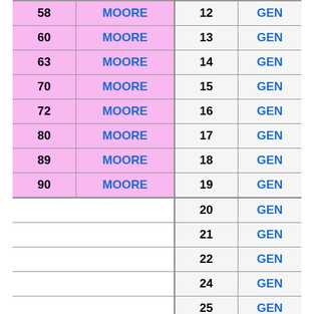|  |  | Number | Type |
| --- | --- | --- | --- |
| 58 | MOORE | 12 | GEN |
| 60 | MOORE | 13 | GEN |
| 63 | MOORE | 14 | GEN |
| 70 | MOORE | 15 | GEN |
| 72 | MOORE | 16 | GEN |
| 80 | MOORE | 17 | GEN |
| 89 | MOORE | 18 | GEN |
| 90 | MOORE | 19 | GEN |
|  |  | 20 | GEN |
|  |  | 21 | GEN |
|  |  | 22 | GEN |
|  |  | 24 | GEN |
|  |  | 25 | GEN |
|  |  | 26 | GEN |
|  |  | 27 | GEN |
|  |  | 28 | GEN |